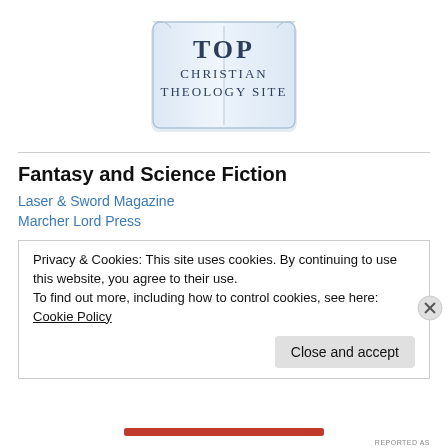[Figure (logo): Top Christian Theology Site logo — open book shape with light blue/white background, text reads 'Top Christian Theology Site' in serif font]
Fantasy and Science Fiction
Laser & Sword Magazine
Marcher Lord Press
Privacy & Cookies: This site uses cookies. By continuing to use this website, you agree to their use.
To find out more, including how to control cookies, see here: Cookie Policy
Close and accept